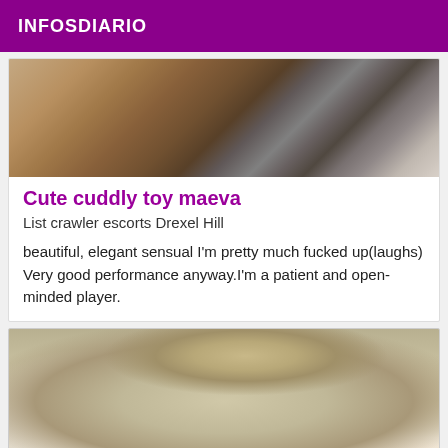INFOSDIARIO
[Figure (photo): A photo showing a partial view of a person, cropped, with warm brown and neutral tones visible.]
Cute cuddly toy maeva
List crawler escorts Drexel Hill
beautiful, elegant sensual I'm pretty much fucked up(laughs) Very good performance anyway.I'm a patient and open-minded player.
[Figure (photo): A photo showing the back and top of a person's head with blonde hair pulled up, wearing a small purple hair accessory. Background is grey/beige.]